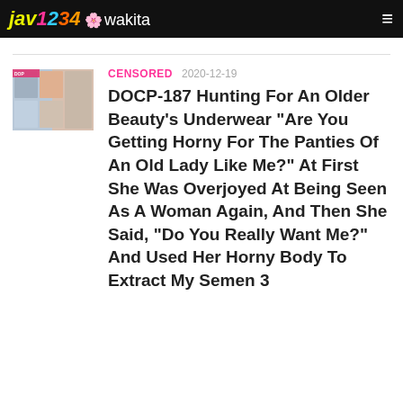jav1234 wakita
[Figure (photo): Thumbnail image for DOCP-187 video entry]
CENSORED 2020-12-19
DOCP-187 Hunting For An Older Beauty’s Underwear “Are You Getting Horny For The Panties Of An Old Lady Like Me?” At First She Was Overjoyed At Being Seen As A Woman Again, And Then She Said, “Do You Really Want Me?” And Used Her Horny Body To Extract My Semen 3